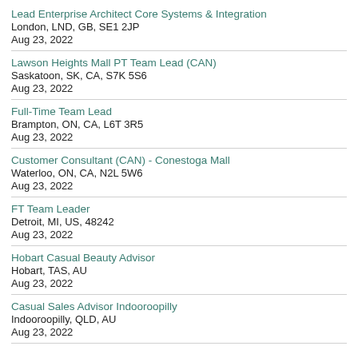Lead Enterprise Architect Core Systems & Integration
London, LND, GB, SE1 2JP
Aug 23, 2022
Lawson Heights Mall PT Team Lead (CAN)
Saskatoon, SK, CA, S7K 5S6
Aug 23, 2022
Full-Time Team Lead
Brampton, ON, CA, L6T 3R5
Aug 23, 2022
Customer Consultant (CAN) - Conestoga Mall
Waterloo, ON, CA, N2L 5W6
Aug 23, 2022
FT Team Leader
Detroit, MI, US, 48242
Aug 23, 2022
Hobart Casual Beauty Advisor
Hobart, TAS, AU
Aug 23, 2022
Casual Sales Advisor Indooroopilly
Indooroopilly, QLD, AU
Aug 23, 2022